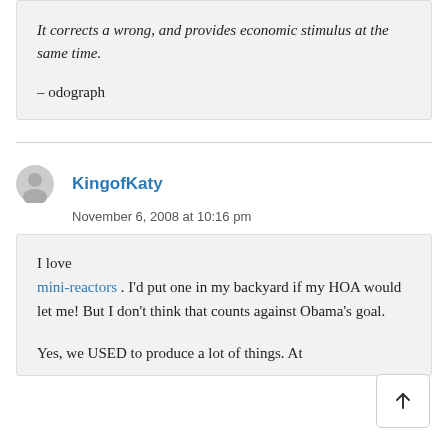It corrects a wrong, and provides economic stimulus at the same time.

– odograph
KingofKaty
November 6, 2008 at 10:16 pm
I love mini-reactors . I'd put one in my backyard if my HOA would let me! But I don't think that counts against Obama's goal.

Yes, we USED to produce a lot of things. At